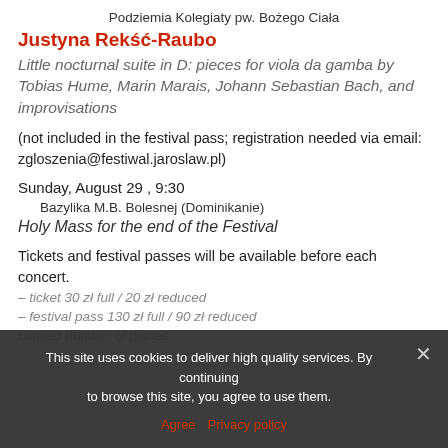Podziemia Kolegiaty pw. Bożego Ciała
Justyna Rekść-Raubo
Little nocturnal suite in D: pieces for viola da gamba by Tobias Hume, Marin Marais, Johann Sebastian Bach, and improvisations
(not included in the festival pass; registration needed via email: zgloszenia@festiwal.jaroslaw.pl)
Sunday, August 29 , 9:30
Bazylika M.B. Bolesnej (Dominikanie)
Holy Mass for the end of the Festival
Tickets and festival passes will be available before each concert.
– ticket 30 zł full / 20 zł reduced
– festival pass 130 zł full / 90 zł reduced
Limited number of places
This site uses cookies to deliver high quality services. By continuing to browse this site, you agree to use them.
Agree   Privacy policy